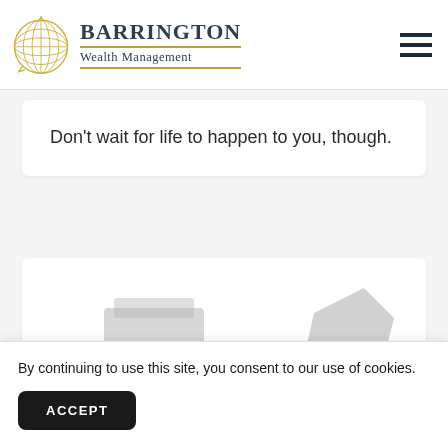[Figure (logo): Barrington Wealth Management logo with globe icon and company name]
Don’t wait for life to happen to you, though.
[Figure (photo): Partially visible image with grey shapes at the bottom of a white card]
By continuing to use this site, you consent to our use of cookies.
ACCEPT